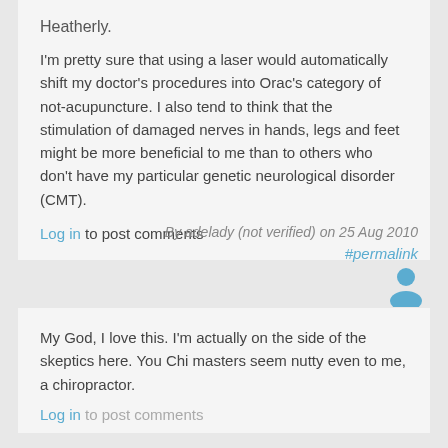Heatherly.
I'm pretty sure that using a laser would automatically shift my doctor's procedures into Orac's category of not-acupuncture. I also tend to think that the stimulation of damaged nerves in hands, legs and feet might be more beneficial to me than to others who don't have my particular genetic neurological disorder (CMT).
Log in to post comments
By adelady (not verified) on 25 Aug 2010
#permalink
[Figure (illustration): User avatar icon — blue silhouette of a person]
My God, I love this. I'm actually on the side of the skeptics here. You Chi masters seem nutty even to me, a chiropractor.
Log in to post comments